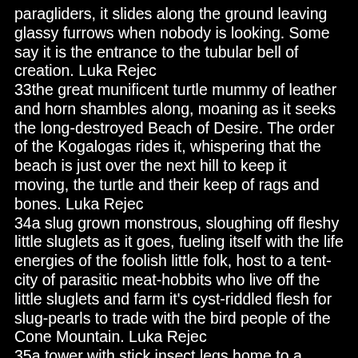paragliders, it slides along the ground leaving glassy furrows when nobody is looking. Some say it is the entrance to the tubular bell of creation. Luka Rejec
33the great munificent turtle mummy of leather and horn shambles along, moaning as it seeks the long-destroyed Beach of Desire. The order of the Kogalogas rides it, whispering that the beach is just over the next hill to keep it moving, the turtle and their keep of rags and bones. Luka Rejec
34a slug grown monstrous, sloughing off fleshy little sluglets as it goes, fueling itself with the life energies of the foolish little folk, host to a tent-city of parasitic meat-hobbits who live off the little sluglets and farm it's cyst-riddled flesh for slug-pearls to trade with the bird people of the Cone Mountain. Luka Rejec
35a tower with stick insect legs home to a dreaming old woman with a heart of gold and a mind of steel. Luka Rejec
36 A great metal and rubber kangaroo with a small gnome city in its pouch. Luka Rejec
37 An amalgamation of brick golems, glazed and dazed and confused, that nearly achieved lift-off in the anti-gravitic wars against the sky demons, now in thrall to the siren song of the